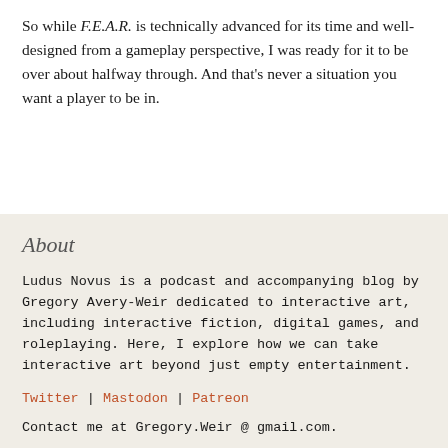So while F.E.A.R. is technically advanced for its time and well-designed from a gameplay perspective, I was ready for it to be over about halfway through. And that's never a situation you want a player to be in.
About
Ludus Novus is a podcast and accompanying blog by Gregory Avery-Weir dedicated to interactive art, including interactive fiction, digital games, and roleplaying. Here, I explore how we can take interactive art beyond just empty entertainment.
Twitter | Mastodon | Patreon
Contact me at Gregory.Weir @ gmail.com.